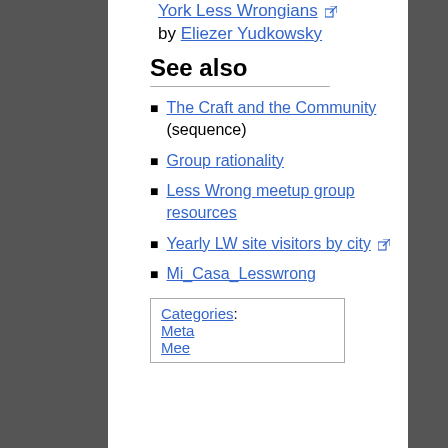York Less Wrongians (external link) by Eliezer Yudkowsky
See also
The Craft and the Community (sequence)
Group rationality
Less Wrong meetup group resources
Yearly LW site visitors by city (external link)
Mi_Casa_Lesswrong
| Categories: |
| --- |
| Meta |
| Meetups |